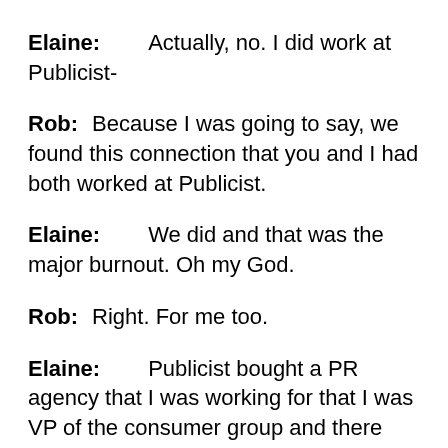Elaine: Actually, no. I did work at Publicist-
Rob: Because I was going to say, we found this connection that you and I had both worked at Publicist.
Elaine: We did and that was the major burnout. Oh my God.
Rob: Right. For me too.
Elaine: Publicist bought a PR agency that I was working for that I was VP of the consumer group and there was the big grip in the key to why they bought it. I made the most money that year in corporate that they bought the